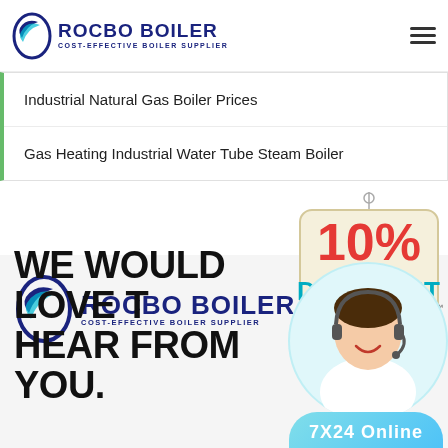ROCBO BOILER - COST-EFFECTIVE BOILER SUPPLIER
Industrial Natural Gas Boiler Prices
Gas Heating Industrial Water Tube Steam Boiler
[Figure (logo): Rocbo Boiler logo with crescent moon icon and text COST-EFFECTIVE BOILER SUPPLIER]
[Figure (infographic): 10% Discount badge hanging sign]
[Figure (photo): Customer service representative wearing headset, smiling]
WE WOULD LOVE TO HEAR FROM YOU.
7X24 Online